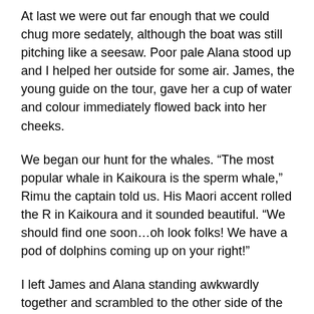At last we were out far enough that we could chug more sedately, although the boat was still pitching like a seesaw. Poor pale Alana stood up and I helped her outside for some air. James, the young guide on the tour, gave her a cup of water and colour immediately flowed back into her cheeks.
We began our hunt for the whales. “The most popular whale in Kaikoura is the sperm whale,” Rimu the captain told us. His Maori accent rolled the R in Kaikoura and it sounded beautiful. “We should find one soon…oh look folks! We have a pod of dolphins coming up on your right!”
I left James and Alana standing awkwardly together and scrambled to the other side of the boat. Dusky dolphins were swarming in their hundreds! They swept across the hull and made leaps into the air like spears, their adorable little faces lifted high. I started taking photos like crazy.